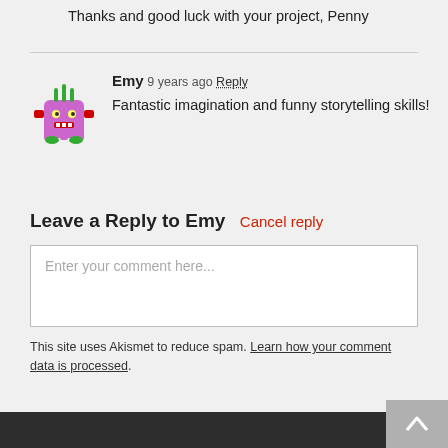Thanks and good luck with your project, Penny
[Figure (illustration): Pixel art avatar of a purple monster with red horns and green accents]
Emy  9 years ago  Reply
Fantastic imagination and funny storytelling skills!
Leave a Reply to Emy  Cancel reply
Enter your comment here...
This site uses Akismet to reduce spam. Learn how your comment data is processed.